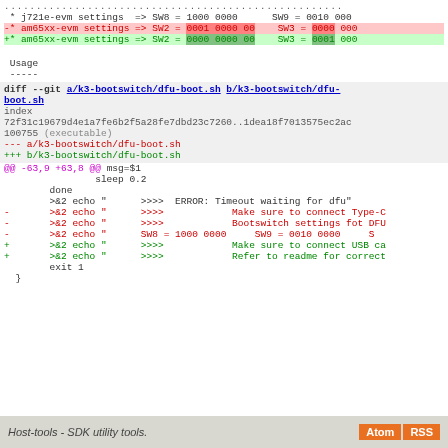* j721e-evm settings  => SW8 = 1000 0000      SW9 = 0010 000
-* am65xx-evm settings => SW2 = 0001 0000 00    SW3 = 0000 000
+* am65xx-evm settings => SW2 = 0000 0000 00    SW3 = 0001 000
Usage
-----
diff --git a/k3-bootswitch/dfu-boot.sh b/k3-bootswitch/dfu-boot.sh
index 72f31c19679d4e1a7fe6b2f5a28fe7dbd23c7260..1dea18f7013575ec2ac 100755 (executable)
--- a/k3-bootswitch/dfu-boot.sh
+++ b/k3-bootswitch/dfu-boot.sh
@@ -63,9 +63,8 @@ msg=$1
sleep 0.2
        done
        >&2 echo "      >>>>  ERROR: Timeout waiting for dfu"
-       >&2 echo "      >>>>            Make sure to connect Type-C
-       >&2 echo "      >>>>            Bootswitch settings fot DFU
-       >&2 echo "      SW8 = 1000 0000    SW9 = 0010 0000    S
+       >&2 echo "      >>>>            Make sure to connect USB ca
+       >&2 echo "      >>>>            Refer to readme for correct
        exit 1
}
Host-tools - SDK utility tools.